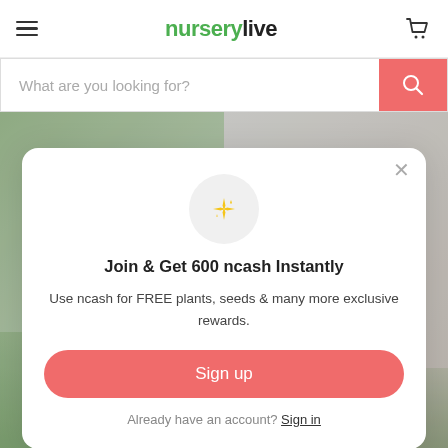nurserylive
What are you looking for?
[Figure (screenshot): Background blurred photo of indoor plants and room setting]
Join & Get 600 ncash Instantly
Use ncash for FREE plants, seeds & many more exclusive rewards.
Sign up
Already have an account? Sign in